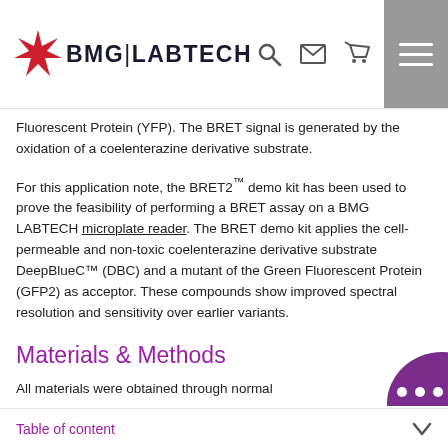BMG LABTECH
Fluorescent Protein (YFP). The BRET signal is generated by the oxidation of a coelenterazine derivative substrate.
For this application note, the BRET2™ demo kit has been used to prove the feasibility of performing a BRET assay on a BMG LABTECH microplate reader. The BRET demo kit applies the cell-permeable and non-toxic coelenterazine derivative substrate DeepBlueC™ (DBC) and a mutant of the Green Fluorescent Protein (GFP2) as acceptor. These compounds show improved spectral resolution and sensitivity over earlier variants.
Materials & Methods
All materials were obtained through normal distribution channels from the manufacturer.
Table of content